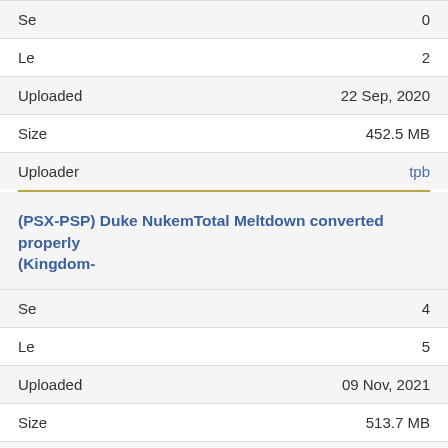| Field | Value |
| --- | --- |
| Se | 0 |
| Le | 2 |
| Uploaded | 22 Sep, 2020 |
| Size | 452.5 MB |
| Uploader | tpb |
(PSX-PSP) Duke NukemTotal Meltdown converted properly (Kingdom-
| Field | Value |
| --- | --- |
| Se | 4 |
| Le | 5 |
| Uploaded | 09 Nov, 2021 |
| Size | 513.7 MB |
| Uploader | tpb |
(PSX-PSP) Evil Dead-Hail to the King converted properly[ResourceRG games by KloWn]